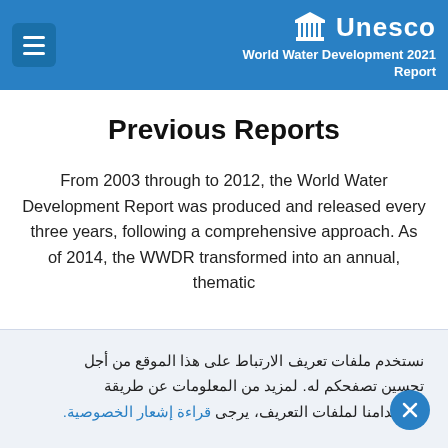UNESCO World Water Development 2021 Report
Previous Reports
From 2003 through to 2012, the World Water Development Report was produced and released every three years, following a comprehensive approach. As of 2014, the WWDR transformed into an annual, thematic
نستخدم ملفات تعريف الارتباط على هذا الموقع من أجل تحسين تصفحكم له. لمزيد من المعلومات عن طريقة استخدامنا لملفات التعريف، يرجى قراءة إشعار الخصوصية.